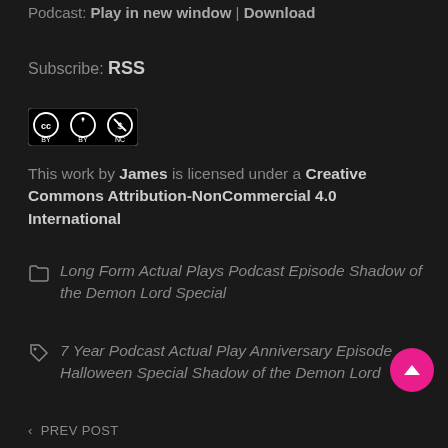Podcast: Play in new window | Download
Subscribe: RSS
[Figure (logo): Creative Commons BY NC license badge — black and white icon with CC, person, and dollar-sign-with-slash symbols, with BY and NC labels below]
This work by James is licensed under a Creative Commons Attribution-NonCommercial 4.0 International
Long Form Actual Plays Podcast Episode Shadow of the Demon Lord Special
7 Year Podcast Actual Play Anniversary Episode Halloween Special Shadow of the Demon Lord
< PREV POST